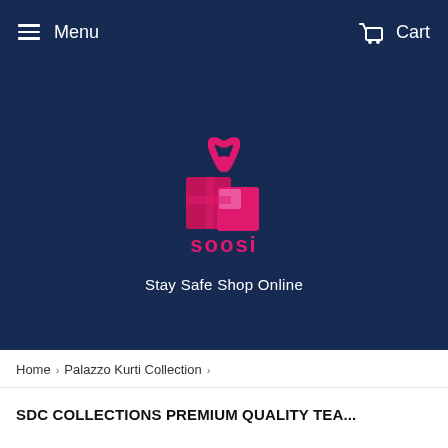Menu   Cart
[Figure (logo): Soosi brand logo: a pink gift box illustration with ribbon on top, and the text 'soosi' in pink below, on a dark navy background]
Stay Safe Shop Online
Home > Palazzo Kurti Collection >
SDC COLLECTIONS PREMIUM QUALITY TEA...